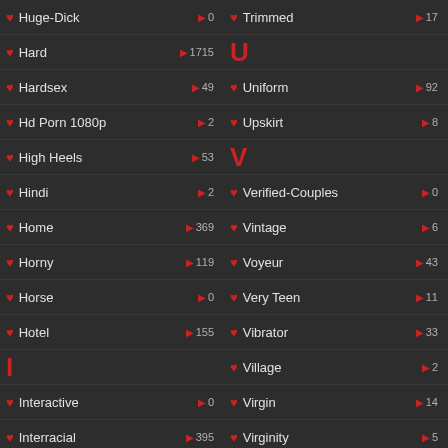Huge-Dick ▶0 | Trimmed ▶17
Hard ▶1715 | U
Hardsex ▶49 | Uniform ▶92
Hd Porn 1080p ▶2 | Upskirt ▶8
High Heels ▶53 | V
Hindi ▶2 | Verified-Couples ▶0
Home ▶369 | Vintage ▶6
Horny ▶119 | Voyeur ▶43
Horse ▶0 | Very Teen ▶11
Hotel ▶155 | Vibrator ▶33
I | Village ▶2
Interactive ▶0 | Virgin ▶14
Interracial ▶395 | Virginity ▶5
Italian ▶0 | W
India ▶62 | Web-Cams ▶0
Indian ▶61 | Webcam ▶206
Insertion ▶? | Welcome ▶?